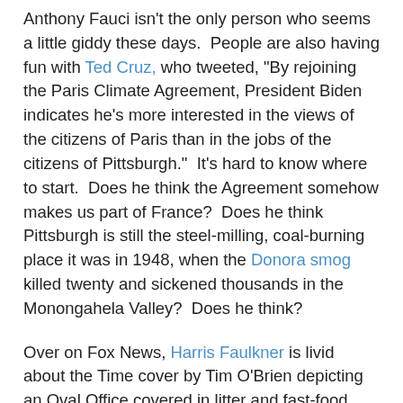Anthony Fauci isn't the only person who seems a little giddy these days.  People are also having fun with Ted Cruz, who tweeted, "By rejoining the Paris Climate Agreement, President Biden indicates he's more interested in the views of the citizens of Paris than in the jobs of the citizens of Pittsburgh."  It's hard to know where to start.  Does he think the Agreement somehow makes us part of France?  Does he think Pittsburgh is still the steel-milling, coal-burning place it was in 1948, when the Donora smog killed twenty and sickened thousands in the Monongahela Valley?  Does he think?
Over on Fox News, Harris Faulkner is livid about the Time cover by Tim O'Brien depicting an Oval Office covered in litter and fast-food containers while Joe Biden gazes out the window.  "That's not real!" she said.  "That picture isn't real.  Don't we care -- I thought we are a nation that cared about the facts."  Ms. Faulkner, this is what we call satire.  The artist has represented visually the chaos left behind by Trump -- even before we found out that his vaccine distribution plan does not exist.  Please remove those